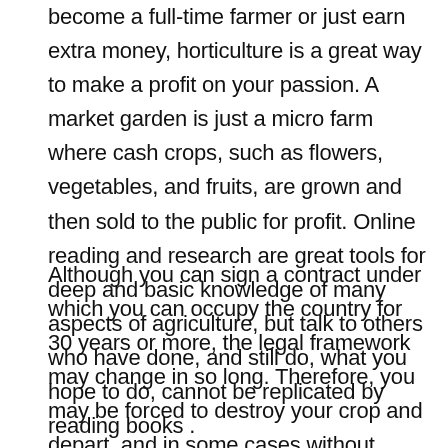become a full-time farmer or just earn extra money, horticulture is a great way to make a profit on your passion. A market garden is just a micro farm where cash crops, such as flowers, vegetables, and fruits, are grown and then sold to the public for profit. Online reading and research are great tools for deep and basic knowledge of many aspects of agriculture, but talk to others who have done, and still do, what you hope to do, cannot be replicated by reading books .
Although you can sign a contract under which you can occupy the country for 30 years or more, the legal framework may change in so long. Therefore, you may be forced to destroy your crop and depart, and in some cases without receiving any compensation. If you and your family plan to check the side providing a country with